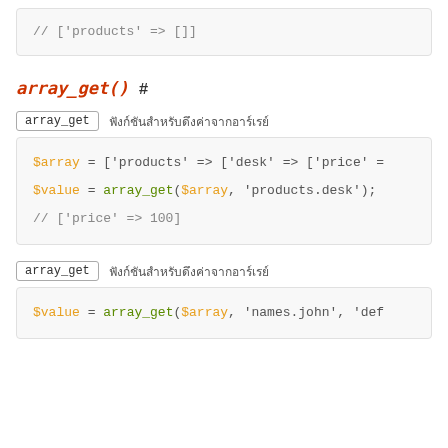// ['products' => []]
array_get() #
array_get  ฟังก์ชันสำหรับดึงค่าจากอาร์เรย์
$array = ['products' => ['desk' => ['price' =>
$value = array_get($array, 'products.desk');
// ['price' => 100]
array_get  ฟังก์ชันสำหรับดึงค่าจากอาร์เรย์
$value = array_get($array, 'names.john', 'def